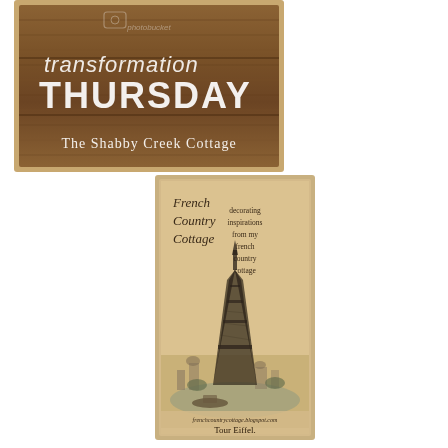[Figure (illustration): Transformation Thursday banner image: wooden plank background with white chalk-style text reading 'transformation THURSDAY' and 'The Shabby Creek Cottage'. Photobucket watermark visible.]
[Figure (illustration): French Country Cottage blog banner: vintage sepia-toned image featuring the Eiffel Tower with text 'French Country Cottage' and 'decorating inspirations from my french country cottage', caption 'Tour Eiffel.' and URL 'frenchcountrycottage.blogspot.com']